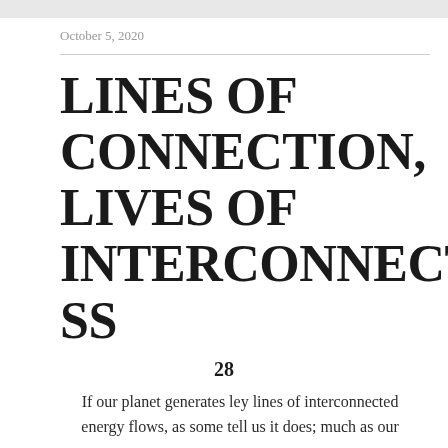October 5, 2020
LINES OF CONNECTION, LIVES OF INTERCONNECTEDNESS
28
If our planet generates ley lines of interconnected energy flows, as some tell us it does; much as our